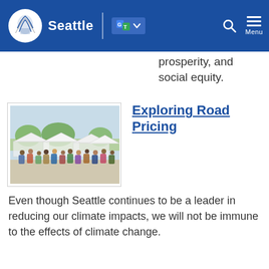Seattle (navigation bar with logo, translate, search, menu)
prosperity, and social equity.
[Figure (photo): Outdoor street market or fair scene with crowds of people under white canopy tents on a sunny day, trees in background.]
Exploring Road Pricing
Even though Seattle continues to be a leader in reducing our climate impacts, we will not be immune to the effects of climate change.